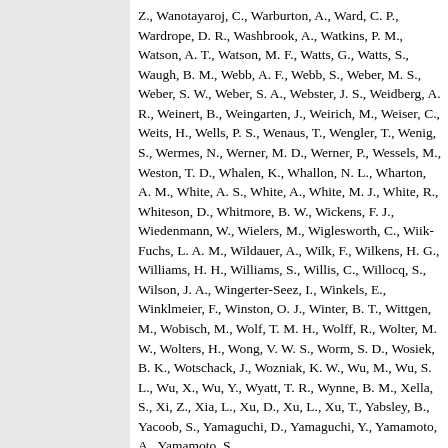Z., Wanotayaroj, C., Warburton, A., Ward, C. P., Wardrope, D. R., Washbrook, A., Watkins, P. M., Watson, A. T., Watson, M. F., Watts, G., Watts, S., Waugh, B. M., Webb, A. F., Webb, S., Weber, M. S., Weber, S. W., Weber, S. A., Webster, J. S., Weidberg, A. R., Weinert, B., Weingarten, J., Weirich, M., Weiser, C., Weits, H., Wells, P. S., Wenaus, T., Wengler, T., Wenig, S., Wermes, N., Werner, M. D., Werner, P., Wessels, M., Weston, T. D., Whalen, K., Whallon, N. L., Wharton, A. M., White, A. S., White, A., White, M. J., White, R., Whiteson, D., Whitmore, B. W., Wickens, F. J., Wiedenmann, W., Wielers, M., Wiglesworth, C., Wiik-Fuchs, L. A. M., Wildauer, A., Wilk, F., Wilkens, H. G., Williams, H. H., Williams, S., Willis, C., Willocq, S., Wilson, J. A., Wingerter-Seez, I., Winkels, E., Winklmeier, F., Winston, O. J., Winter, B. T., Wittgen, M., Wobisch, M., Wolf, T. M. H., Wolff, R., Wolter, M. W., Wolters, H., Wong, V. W. S., Worm, S. D., Wosiek, B. K., Wotschack, J., Wozniak, K. W., Wu, M., Wu, S. L., Wu, X., Wu, Y., Wyatt, T. R., Wynne, B. M., Xella, S., Xi, Z., Xia, L., Xu, D., Xu, L., Xu, T., Yabsley, B., Yacoob, S., Yamaguchi, D., Yamaguchi, Y., Yamamoto, A., Yamamoto, S.,